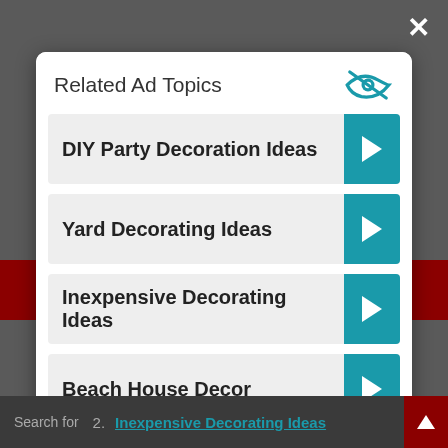Related Ad Topics
DIY Party Decoration Ideas
Yard Decorating Ideas
Inexpensive Decorating Ideas
Beach House Decor
Continue to Site >>
Search for
2.   Inexpensive Decorating Ideas